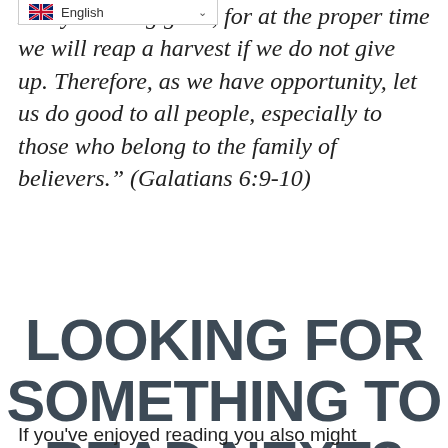[Figure (other): English language selector dropdown bar with UK flag icon and chevron]
L…ry in doing good, for at the proper time we will reap a harvest if we do not give up. Therefore, as we have opportunity, let us do good to all people, especially to those who belong to the family of believers." (Galatians 6:9-10)
LOOKING FOR SOMETHING TO READ NEXT?
If you've enjoyed reading you also might